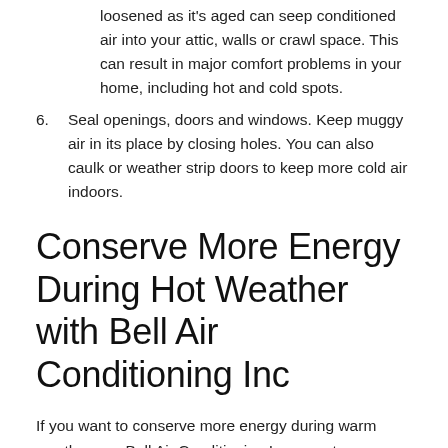loosened as it's aged can seep conditioned air into your attic, walls or crawl space. This can result in major comfort problems in your home, including hot and cold spots.
6. Seal openings, doors and windows. Keep muggy air in its place by closing holes. You can also caulk or weather strip doors to keep more cold air indoors.
Conserve More Energy During Hot Weather with Bell Air Conditioning Inc
If you want to conserve more energy during warm weather, our Bell Air Conditioning Inc experts can provide assistance. Give us a call at 254-307-9572 or